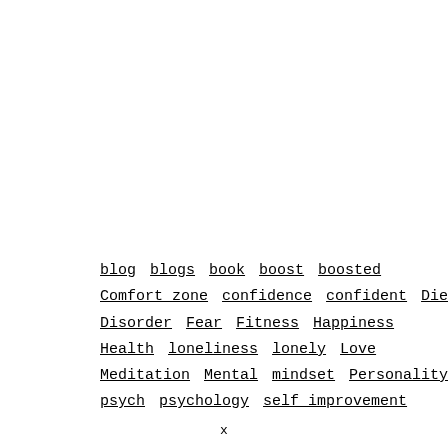blog  blogs  book  boost  boosted  Comfort zone  confidence  confident  Diet  Disorder  Fear  Fitness  Happiness  Health  loneliness  lonely  Love  Meditation  Mental  mindset  Personality  psych  psychology  self improvement
x